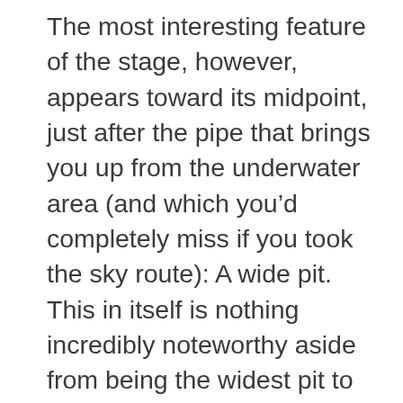The most interesting feature of the stage, however, appears toward its midpoint, just after the pipe that brings you up from the underwater area (and which you’d completely miss if you took the sky route): A wide pit. This in itself is nothing incredibly noteworthy aside from being the widest pit to have appeared to this point in the game. What makes it interesting is the way the level design offers a safe route over the pit… unless you’re a pro player who’s managed to retain a power-up to this point and has developed a habit of breaking every possible brick in search